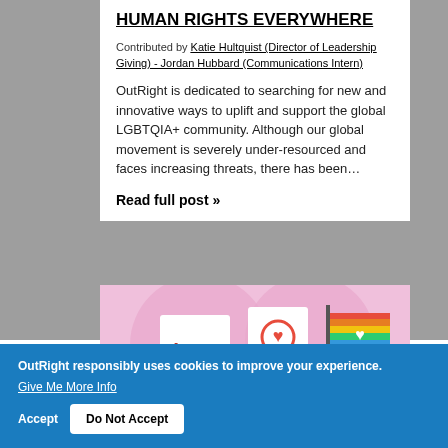HUMAN RIGHTS EVERYWHERE
Contributed by Katie Hultquist (Director of Leadership Giving) - Jordan Hubbard (Communications Intern)
OutRight is dedicated to searching for new and innovative ways to uplift and support the global LGBTQIA+ community. Although our global movement is severely under-resourced and faces increasing threats, there has been…
Read full post »
[Figure (illustration): Colorful illustration on pink background showing people holding signs including LOVE sign and PRIDE flag with rainbow colors]
OutRight responsibly uses cookies to improve your experience. Give Me More Info
Accept  Do Not Accept